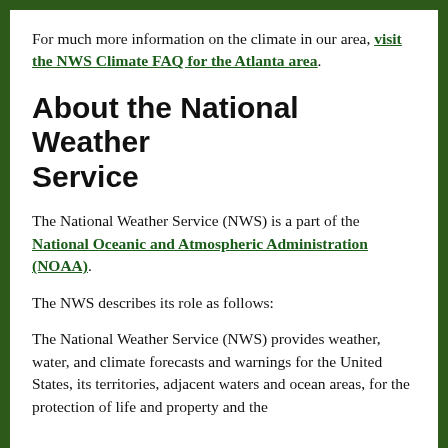For much more information on the climate in our area, visit the NWS Climate FAQ for the Atlanta area.
About the National Weather Service
The National Weather Service (NWS) is a part of the National Oceanic and Atmospheric Administration (NOAA).
The NWS describes its role as follows:
The National Weather Service (NWS) provides weather, water, and climate forecasts and warnings for the United States, its territories, adjacent waters and ocean areas, for the protection of life and property and the